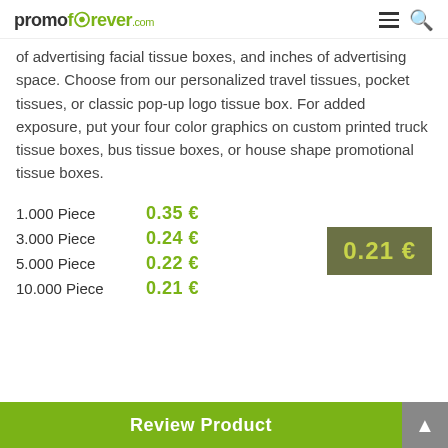promoforever.com
of advertising facial tissue boxes, and inches of advertising space. Choose from our personalized travel tissues, pocket tissues, or classic pop-up logo tissue box. For added exposure, put your four color graphics on custom printed truck tissue boxes, bus tissue boxes, or house shape promotional tissue boxes.
| Quantity | Price |
| --- | --- |
| 1.000 Piece | 0.35 € |
| 3.000 Piece | 0.24 € |
| 5.000 Piece | 0.22 € |
| 10.000 Piece | 0.21 € |
0.21 €
Review Product